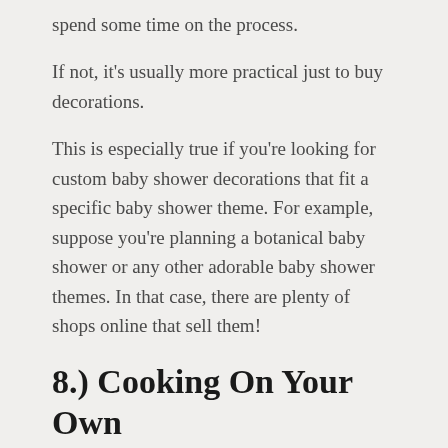spend some time on the process.
If not, it's usually more practical just to buy decorations.
This is especially true if you're looking for custom baby shower decorations that fit a specific baby shower theme. For example, suppose you're planning a botanical baby shower or any other adorable baby shower themes. In that case, there are plenty of shops online that sell them!
8.) Cooking On Your Own